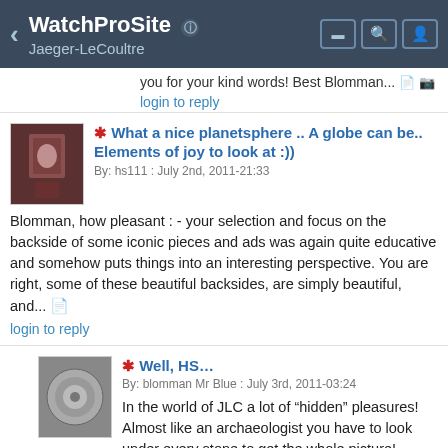WatchProSite — Jaeger-LeCoultre
you for your kind words! Best Blomman...
login to reply
What a nice planetsphere .. A globe can be.. Elements of joy to look at :))
By: hs111 : July 2nd, 2011-21:33
Blomman, how pleasant : - your selection and focus on the backside of some iconic pieces and ads was again quite educative and somehow puts things into an interesting perspective. You are right, some of these beautiful backsides, are simply beautiful, and...
login to reply
Well, HS…
By: blomman Mr Blue : July 3rd, 2011-03:24
In the world of JLC a lot of “hidden” pleasures! Almost like an archaeologist you have to look under every stone to get the whole picture! Thank you, HS – hope you have a great Sunday! Best Blomman
login to reply